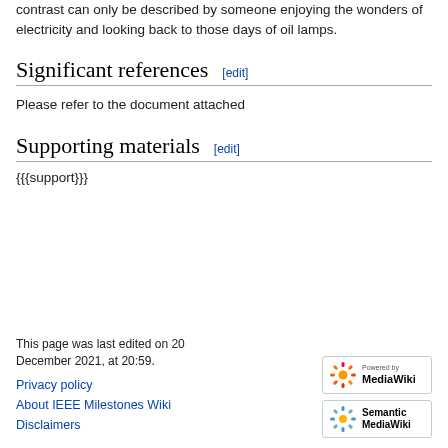contrast can only be described by someone enjoying the wonders of electricity and looking back to those days of oil lamps.
Significant references [edit]
Please refer to the document attached
Supporting materials [edit]
{{{support}}}
This page was last edited on 20 December 2021, at 20:59.
Privacy policy
About IEEE Milestones Wiki
Disclaimers